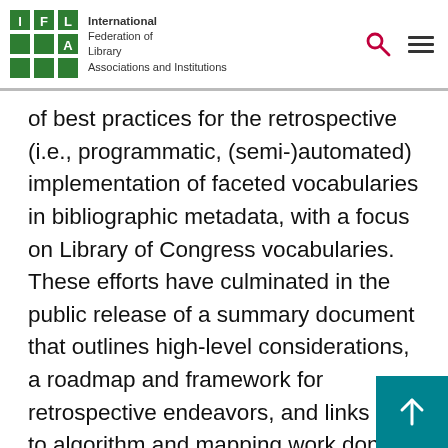International Federation of Library Associations and Institutions
of best practices for the retrospective (i.e., programmatic, (semi-)automated) implementation of faceted vocabularies in bibliographic metadata, with a focus on Library of Congress vocabularies. These efforts have culminated in the public release of a summary document that outlines high-level considerations, a roadmap and framework for retrospective endeavors, and links out to algorithm and mapping work done by SSFV and allied communities. Mullin will summarize work accomplished thus far. He will also discuss the challenges associated with pursuing broad-based implementation across diverse environments and user bases. In the absence o